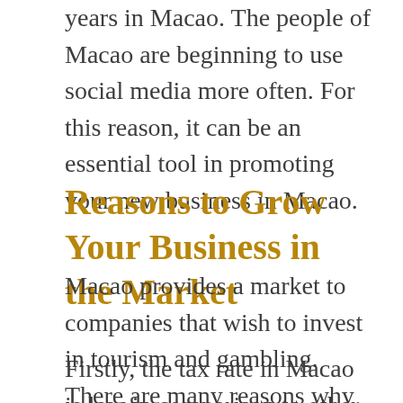years in Macao. The people of Macao are beginning to use social media more often. For this reason, it can be an essential tool in promoting your new business in Macao.
Reasons to Grow Your Business in the Market
Macao provides a market to companies that wish to invest in tourism and gambling. There are many reasons why you should grow your business in this market.
Firstly, the tax rate in Macao is low in comparison to other countries. Also, Macao has a free market economy. Hence there are